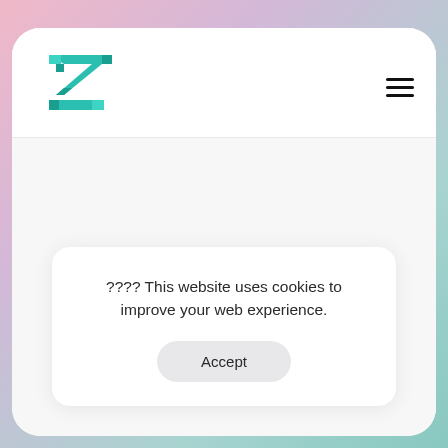[Figure (logo): Teal/green angular hourglass-like Z logo mark]
[Figure (other): Hamburger menu icon with three horizontal lines]
???? This website uses cookies to improve your web experience.
Accept